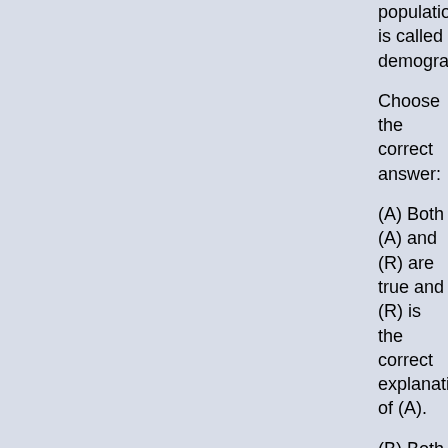population is called demography
Choose the correct answer:
(A) Both (A) and (R) are true and (R) is the correct explanation of (A).
(B) Both (A) and (R) are true, but (R) is not the correct explanation of (A).